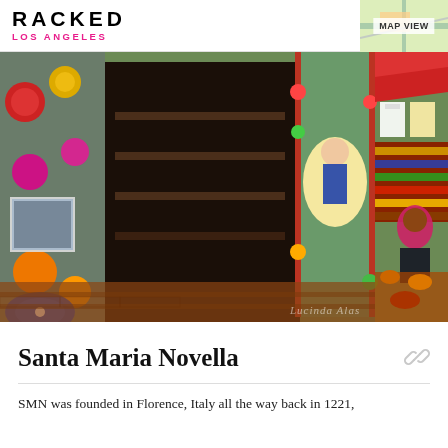RACKED LOS ANGELES
[Figure (photo): Mexican market stall with colorful decorations including paper flowers, Day of the Dead skulls, an image of Our Lady of Guadalupe painted on a door, and clothing/textile merchandise displayed outside]
Santa Maria Novella
SMN was founded in Florence, Italy all the way back in 1221,